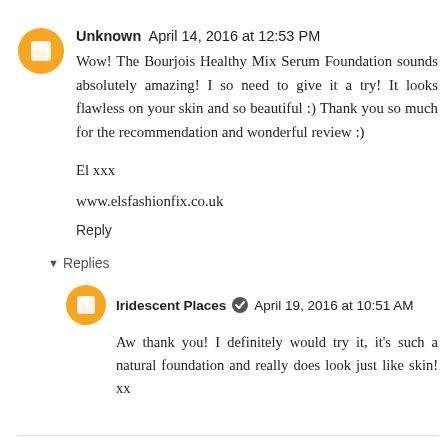Unknown  April 14, 2016 at 12:53 PM
Wow! The Bourjois Healthy Mix Serum Foundation sounds absolutely amazing! I so need to give it a try! It looks flawless on your skin and so beautiful :) Thank you so much for the recommendation and wonderful review :)
El xxx
www.elsfashionfix.co.uk
Reply
Replies
Iridescent Places  April 19, 2016 at 10:51 AM
Aw thank you! I definitely would try it, it's such a natural foundation and really does look just like skin! xx